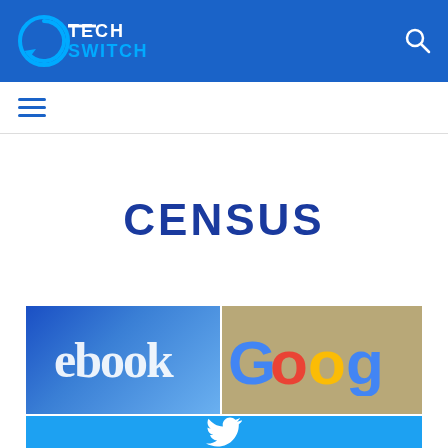Tech Switch
CENSUS
[Figure (photo): Collage of Facebook, Google, and Twitter logos/signs]